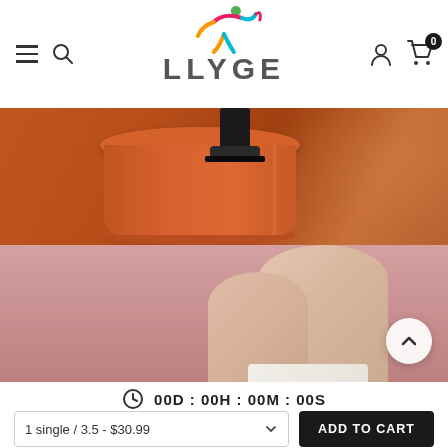[Figure (logo): LLYGE brand logo with colorful figure icon above the text]
[Figure (photo): E-commerce product page showing a high-heeled shoe on an orange cylindrical stool (top half) and a close-up of legs wearing heels against a pink background (bottom half)]
00D : 00H : 00M : 00S
1 single / 3.5 - $30.99
ADD TO CART